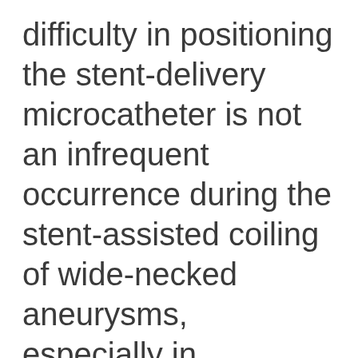difficulty in positioning the stent-delivery microcatheter is not an infrequent occurrence during the stent-assisted coiling of wide-necked aneurysms, especially in bifurcation lesions, such as basilar bifurcation or MCA bifurcation aneurysms. Personal communication